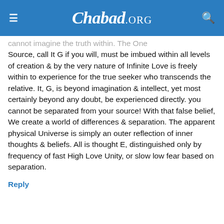Chabad.ORG
cannot imagine the truth within. The One Source, call It G if you will, must be imbued within all levels of creation & by the very nature of Infinite Love is freely within to experience for the true seeker who transcends the relative. It, G, is beyond imagination & intellect, yet most certainly beyond any doubt, be experienced directly. you cannot be separated from your source! With that false belief, We create a world of differences & separation. The apparent physical Universe is simply an outer reflection of inner thoughts & beliefs. All is thought E, distinguished only by frequency of fast High Love Unity, or slow low fear based on separation.
Reply